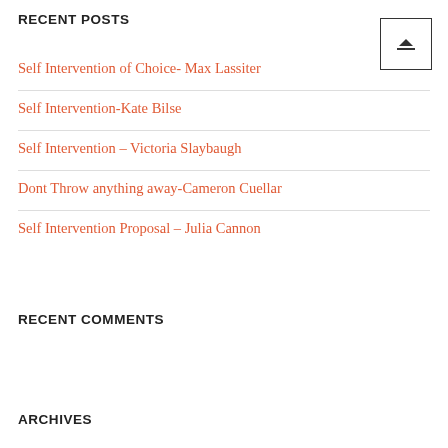RECENT POSTS
[Figure (other): Small icon box with a line and upward triangle symbol]
Self Intervention of Choice- Max Lassiter
Self Intervention-Kate Bilse
Self Intervention – Victoria Slaybaugh
Dont Throw anything away-Cameron Cuellar
Self Intervention Proposal – Julia Cannon
RECENT COMMENTS
ARCHIVES